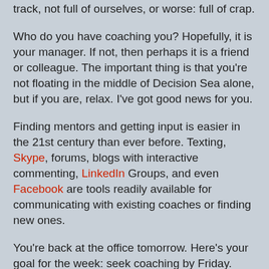track, not full of ourselves, or worse: full of crap.
Who do you have coaching you? Hopefully, it is your manager. If not, then perhaps it is a friend or colleague. The important thing is that you're not floating in the middle of Decision Sea alone, but if you are, relax. I've got good news for you.
Finding mentors and getting input is easier in the 21st century than ever before. Texting, Skype, forums, blogs with interactive commenting, LinkedIn Groups, and even Facebook are tools readily available for communicating with existing coaches or finding new ones.
You're back at the office tomorrow. Here's your goal for the week: seek coaching by Friday. Engage in a conversation that helps you move forward. Even if you have no pending decisions, seek second opinions on last week's decisions. Ask someone to hear you out and provide feedback. Quite often, just hearing yourself recount a decision or path out loud shines lights on new options.
Try this out this week, and let me know how it works for you.